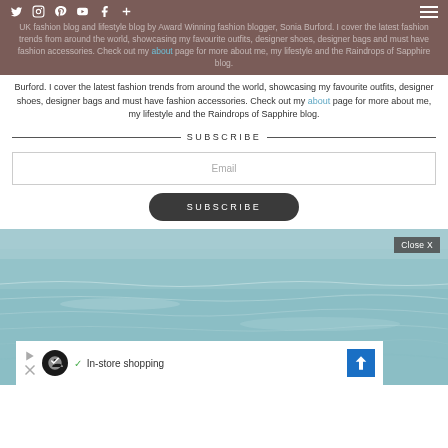UK fashion blog and lifestyle blog by Award Winning fashion blogger, Sonia Burford. I cover the latest fashion trends from around the world, showcasing my favourite outfits, designer shoes, designer bags and must have fashion accessories. Check out my about page for more about me, my lifestyle and the Raindrops of Sapphire blog.
SUBSCRIBE
Email
SUBSCRIBE
[Figure (photo): Aerial or coastal view of a calm sea/ocean with blue-teal water, with a Close X button overlay and an advertisement bar at the bottom showing a shopping app ad with 'In-store shopping' text.]